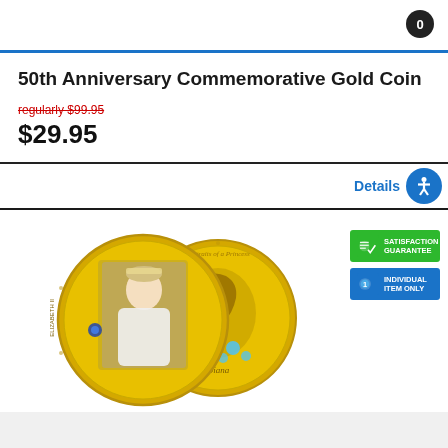0
50th Anniversary Commemorative Gold Coin
regularly $99.95
$29.95
Details
[Figure (photo): Two gold commemorative coins featuring Princess Diana portrait on front coin and silhouette profile on back coin, with blue flowers decoration]
[Figure (infographic): Satisfaction Guarantee badge (green) and Individual Item Only badge (blue)]